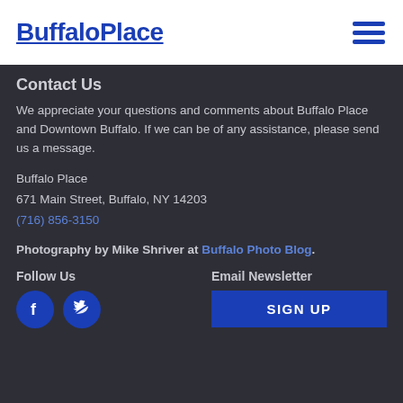BuffaloPlace
Contact Us
We appreciate your questions and comments about Buffalo Place and Downtown Buffalo. If we can be of any assistance, please send us a message.
Buffalo Place
671 Main Street, Buffalo, NY 14203
(716) 856-3150
Photography by Mike Shriver at Buffalo Photo Blog.
Follow Us
[Figure (infographic): Three circular social media icons: Facebook, Twitter, Instagram, in blue circles]
Email Newsletter
[Figure (screenshot): SIGN UP button in blue]